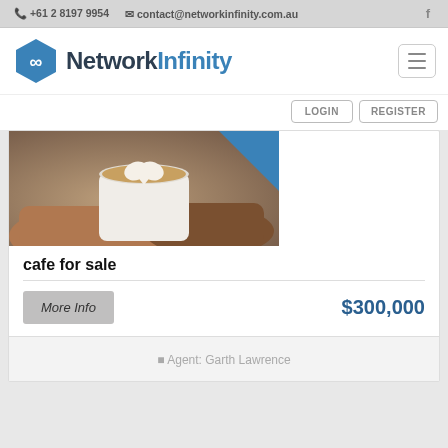+61 2 8197 9954  contact@networkinfinity.com.au  f
[Figure (logo): Network Infinity logo with hexagon icon and text]
LOGIN   REGISTER
[Figure (photo): Hands holding a latte art coffee cup with a blue diagonal banner corner]
cafe for sale
More Info   $300,000
Agent: Garth Lawrence